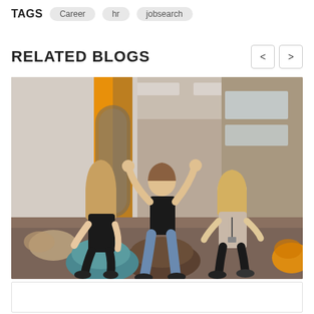TAGS   Career   hr   jobsearch
RELATED BLOGS
[Figure (photo): Three young people sitting on bean bags in a modern office space with orange and grey wall decorations. The person in the middle is raising their hands in celebration, while the two women on either side are smiling. The office has large windows in the background and overhead fluorescent lighting.]